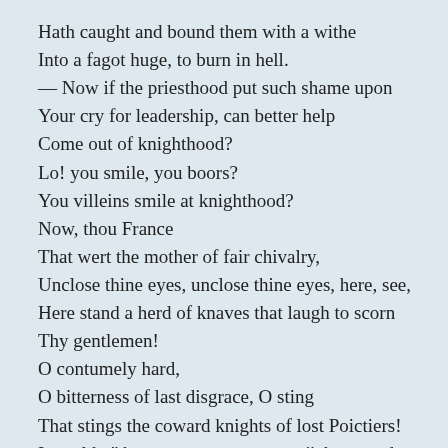Hath caught and bound them with a withe
Into a fagot huge, to burn in hell.
— Now if the priesthood put such shame upon
Your cry for leadership, can better help
Come out of knighthood?
Lo! you smile, you boors?
You villeins smile at knighthood?
Now, thou France
That wert the mother of fair chivalry,
Unclose thine eyes, unclose thine eyes, here, see,
Here stand a herd of knaves that laugh to scorn
Thy gentlemen!
O contumely hard,
O bitterness of last disgrace, O sting
That stings the coward knights of lost Poictiers!
I would –" but now a murmur rose i' the crowd
Of angry voices, and the friar leapt
From where he stood to preach and pressed a path